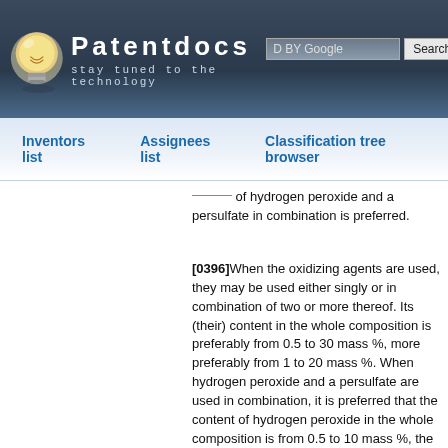[Figure (screenshot): Patentdocs website header with lightbulb logo, site title 'Patentdocs', tagline 'stay tuned to the technology', Google search box and Search button]
Inventors list   Assignees list   Classification tree browser
of hydrogen peroxide and a persulfate in combination is preferred.
[0396]When the oxidizing agents are used, they may be used either singly or in combination of two or more thereof. Its (their) content in the whole composition is preferably from 0.5 to 30 mass %, more preferably from 1 to 20 mass %. When hydrogen peroxide and a persulfate are used in combination, it is preferred that the content of hydrogen peroxide in the whole composition is from 0.5 to 10 mass %, the content of a